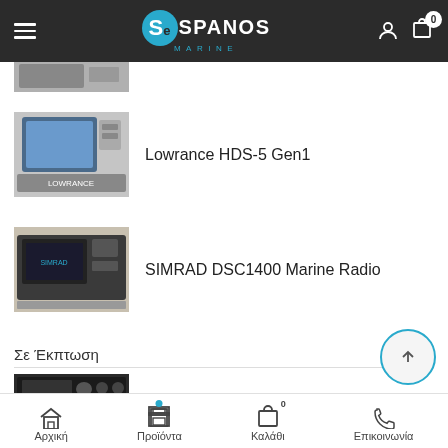Se Spanos Marine — navigation header with logo, hamburger menu, and cart (0)
[Figure (screenshot): Partial product image at top (cropped), small thumbnail]
Lowrance HDS-5 Gen1
SIMRAD DSC1400 Marine Radio
Σε Έκπτωση
Mp3 Player Bluetooth
Αρχική | Προϊόντα | Καλάθι 0 | Επικοινωνία